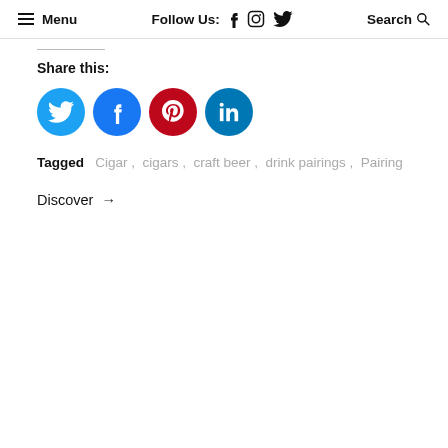Menu  Follow Us: f [instagram] [twitter]  Search
Share this:
[Figure (infographic): Four social media share buttons: Twitter (cyan circle), Facebook (blue circle), Pinterest (red circle), LinkedIn (teal circle)]
Tagged  Cigar ,  cigars ,  craft beer ,  drink pairings ,  Pairing
Discover →